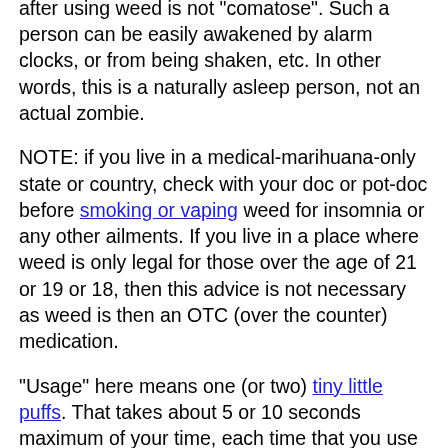powerful narcotics. Weed is not in that category. NOTE: someone who falls asleep after using weed is not "comatose". Such a person can be easily awakened by alarm clocks, or from being shaken, etc. In other words, this is a naturally asleep person, not an actual zombie.
NOTE: if you live in a medical-marihuana-only state or country, check with your doc or pot-doc before smoking or vaping weed for insomnia or any other ailments. If you live in a place where weed is only legal for those over the age of 21 or 19 or 18, then this advice is not necessary as weed is then an OTC (over the counter) medication.
"Usage" here means one (or two) tiny little puffs. That takes about 5 or 10 seconds maximum of your time, each time that you use it. Anymore than that is wasting it.